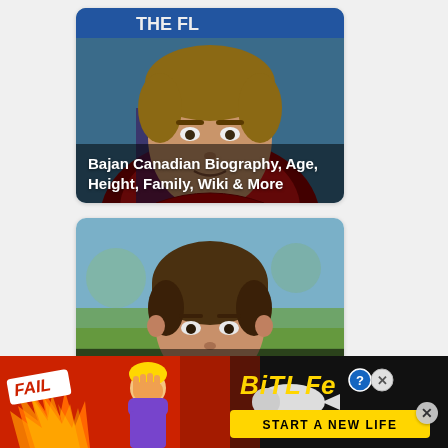[Figure (photo): Card with photo of Bajan Canadian (young man with red hoodie, brown hair) with overlay text 'Bajan Canadian Biography, Age, Height, Family, Wiki & More']
[Figure (photo): Card with photo of Anas Moshaya (young boy with brown bowl-cut hair, outdoor background) with overlay text 'Anas Moshaya (Youtuber) Biography, Age, Height, Family...']
[Figure (screenshot): BitLife advertisement banner at bottom with 'FAIL' badge, flames, character illustration, BitLife logo, and 'START A NEW LIFE' call to action button. Has close X button.]